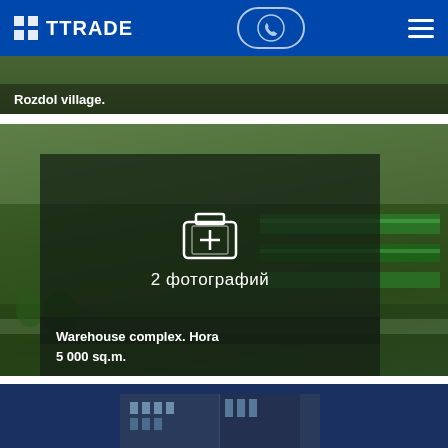TTRADE
Rozdol village.
[Figure (photo): Aerial view of a warehouse complex with green roofs, overlaid with a semi-transparent dark panel showing a camera icon and text '2 фотографий'. Bottom caption reads 'Warehouse complex. Hora 5 000 sq.m.']
Warehouse complex. Hora
5 000 sq.m.
[Figure (photo): Bottom partial image showing a modern building exterior against a blue sky, partially visible]